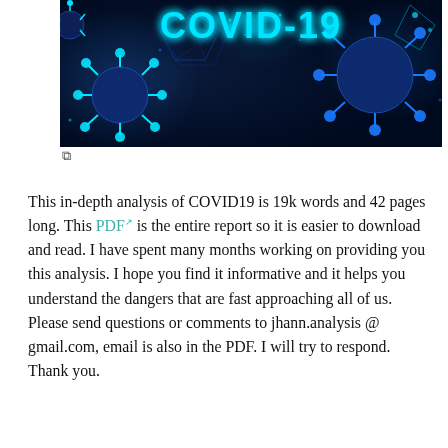[Figure (photo): Dark blue banner image showing coronavirus particles with cyan spikes and geometric patterns, with the text 'COVID-19' in large cyan glowing letters at the top center]
This in-depth analysis of COVID19 is 19k words and 42 pages long. This PDF is the entire report so it is easier to download and read. I have spent many months working on providing you this analysis. I hope you find it informative and it helps you understand the dangers that are fast approaching all of us. Please send questions or comments to jhann.analysis @ gmail.com, email is also in the PDF. I will try to respond. Thank you.